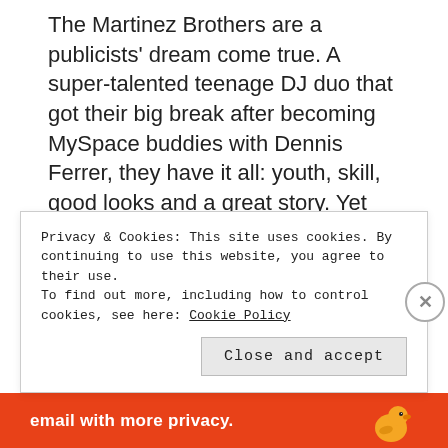The Martinez Brothers are a publicists' dream come true. A super-talented teenage DJ duo that got their big break after becoming MySpace buddies with Dennis Ferrer, they have it all: youth, skill, good looks and a great story. Yet the most remarkable thing about them is how poorly that set of facts describes them, how much lies beneath the sound-bite surface of their success.
The story of the Martinez Brothers – and what it suggests they may mean to house music in particular and dance culture in general – is as opaque and
Privacy & Cookies: This site uses cookies. By continuing to use this website, you agree to their use.
To find out more, including how to control cookies, see here: Cookie Policy
Close and accept
[Figure (other): Red advertisement banner at the bottom of the page with white text 'email with more privacy.' and a DuckDuckGo duck logo on the right]